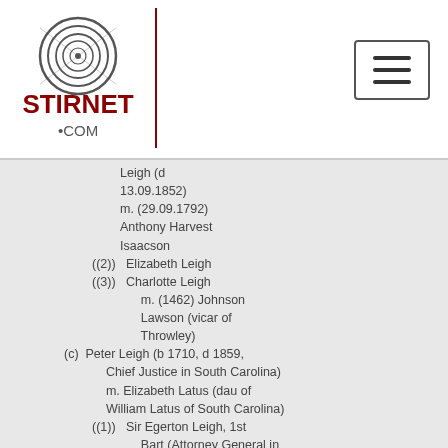[Figure (logo): Stirnet.com logo with fingerprint graphic and red text]
Leigh (d 13.09.1852) m. (29.09.1792) Anthony Harvest Isaacson
((2)) Elizabeth Leigh
((3)) Charlotte Leigh m. (1462) Johnson Lawson (vicar of Throwley)
(c) Peter Leigh (b 1710, d 1859, Chief Justice in South Carolina) m. Elizabeth Latus (dau of William Latus of South Carolina)
((1)) Sir Egerton Leigh, 1st Bart (Attorney General in South Carolina) m. (1756) Mary Bremar (dau of Francis Bremar of South Carolina)